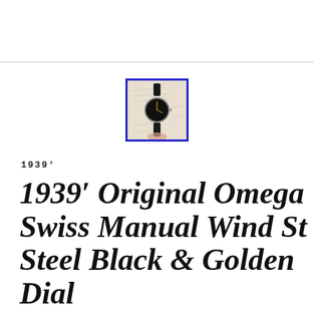[Figure (photo): A vintage wristwatch with a black dial and leather strap, photographed against a handwritten note background, framed with a blue border.]
1939'
1939′ Original Omega Swiss Manual Wind St Steel Black & Golden Dial